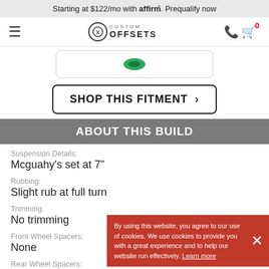Starting at $122/mo with affirm. Prequalify now
[Figure (logo): Custom Offsets logo with hamburger menu and cart icon showing 0 items]
[Figure (screenshot): Product card with green logo partial view]
SHOP THIS FITMENT >
ABOUT THIS BUILD
Suspension Details:
Mcguahy's set at 7"
Rubbing:
Slight rub at full turn
Trimming:
No trimming
Front Wheel Spacers:
None
Rear Wheel Spacers:
By using this website, you agree to our use of cookies. We use cookies to provide you with a great experience and to help our website run effectively. Learn more